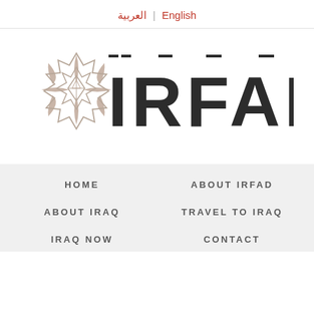العربية | English
[Figure (logo): IRFAD logo with decorative geometric flower/mandala icon in taupe/beige on the left and large spaced letters IRFAD in dark charcoal with double-line style]
HOME
ABOUT IRFAD
ABOUT IRAQ
TRAVEL TO IRAQ
IRAQ NOW
CONTACT